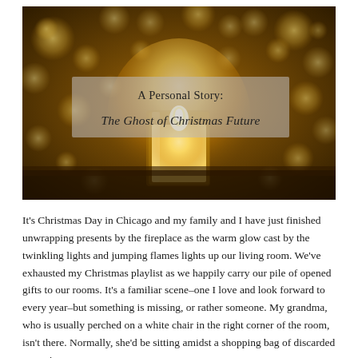[Figure (photo): A warm bokeh photo of a glowing candle in a glass jar surrounded by golden out-of-focus lights on a dark background, with a semi-transparent text overlay reading 'A Personal Story: The Ghost of Christmas Future']
A Personal Story: The Ghost of Christmas Future
It's Christmas Day in Chicago and my family and I have just finished unwrapping presents by the fireplace as the warm glow cast by the twinkling lights and jumping flames lights up our living room. We've exhausted my Christmas playlist as we happily carry our pile of opened gifts to our rooms. It's a familiar scene–one I love and look forward to every year–but something is missing, or rather someone. My grandma, who is usually perched on a white chair in the right corner of the room, isn't there. Normally, she'd be sitting amidst a shopping bag of discarded wrapping